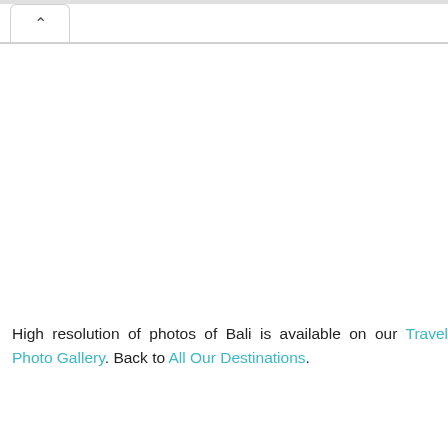[Figure (screenshot): Browser tab UI element showing a back/up chevron (^) tab at the top left, with a horizontal border line beneath it]
High resolution of photos of Bali is available on our Travel Photo Gallery. Back to All Our Destinations.